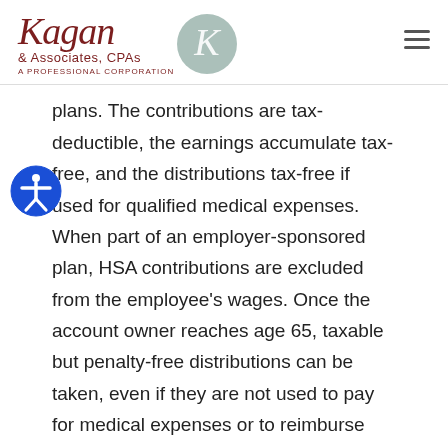[Figure (logo): Kagan & Associates CPAs logo with decorative script and circular K emblem]
plans. The contributions are tax-deductible, the earnings accumulate tax-free, and the distributions tax-free if used for qualified medical expenses. When part of an employer-sponsored plan, HSA contributions are excluded from the employee's wages. Once the account owner reaches age 65, taxable but penalty-free distributions can be taken, even if they are not used to pay for medical expenses or to reimburse the taxpayer for medical expenses previously paid for out-of-pocket. Thus,